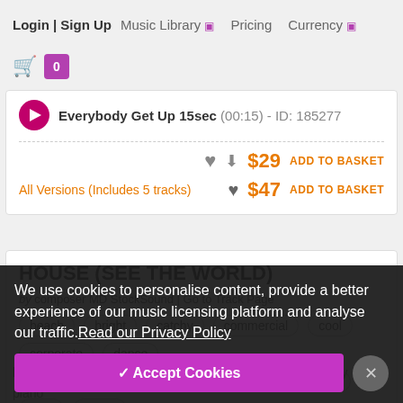Login | Sign Up   Music Library ▾   Pricing   Currency ▾
🛒 0
Everybody Get Up 15sec (00:15) - ID: 185277 — $29 ADD TO BASKET
All Versions (Includes 5 tracks) — $47 ADD TO BASKET
HOUSE (SEE THE WORLD)
by composer MD StockSound | Go to Track Page
beach
bright
catchy
commercial
cool
corporate
dance
edm
electric
electronic
energetic
fun
funk
guitar
happy   house   inspiration   modern   motivation   party   piano
We use cookies to personalise content, provide a better experience of our music licensing platform and analyse our traffic.Read our Privacy Policy
✓ Accept Cookies